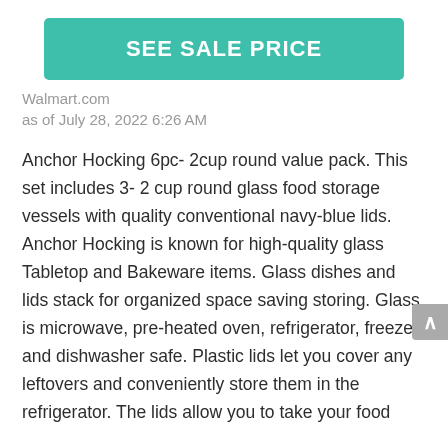SEE SALE PRICE
Walmart.com
as of July 28, 2022 6:26 AM
Anchor Hocking 6pc- 2cup round value pack. This set includes 3- 2 cup round glass food storage vessels with quality conventional navy-blue lids. Anchor Hocking is known for high-quality glass Tabletop and Bakeware items. Glass dishes and lids stack for organized space saving storing. Glass is microwave, pre-heated oven, refrigerator, freezer, and dishwasher safe. Plastic lids let you cover any leftovers and conveniently store them in the refrigerator. The lids allow you to take your food